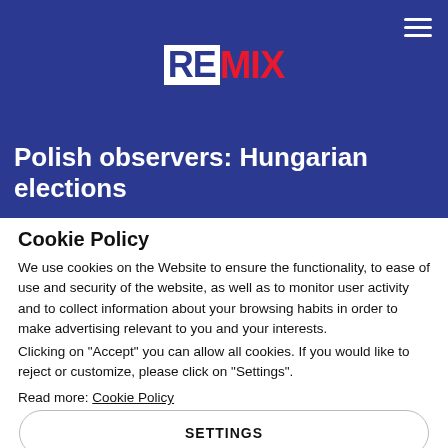REMIX
Polish observers: Hungarian elections
Cookie Policy
We use cookies on the Website to ensure the functionality, to ease of use and security of the website, as well as to monitor user activity and to collect information about your browsing habits in order to make advertising relevant to you and your interests.
Clicking on "Accept" you can allow all cookies. If you would like to reject or customize, please click on "Settings".
Read more: Cookie Policy
SETTINGS
ACCEPT